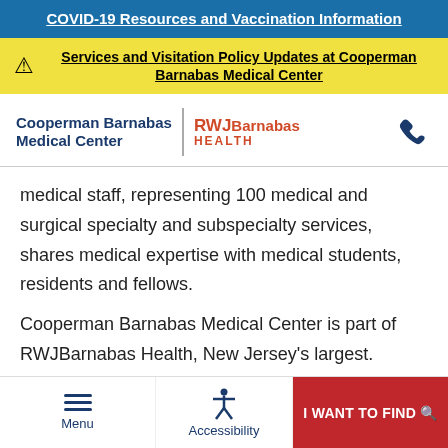COVID-19 Resources and Vaccination Information
Services and Visitation Policy Updates at Cooperman Barnabas Medical Center
[Figure (logo): Cooperman Barnabas Medical Center and RWJBarnabas Health logos with phone icon]
medical staff, representing 100 medical and surgical specialty and subspecialty services, shares medical expertise with medical students, residents and fellows.
Cooperman Barnabas Medical Center is part of RWJBarnabas Health, New Jersey's largest.
Menu | Accessibility | I WANT TO FIND